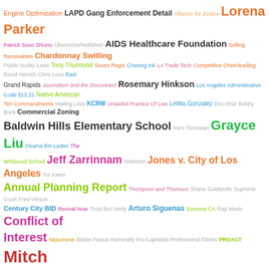[Figure (infographic): A word cloud containing legal, political, and civic terms associated with Los Angeles government and law. Terms vary in size, weight, and color (green, orange, purple, teal, red, blue, pink, yellow, brown, gray). Largest terms include 'Mitch O'Farrell', 'Conflict of Interest', 'Skid Row', 'Grayce Liu', 'Jones v. City of Los Angeles', 'First Amendment Coalition', 'California Constitution', 'Government Code 549541', 'ACLU', 'Annual Planning Report'. Smaller terms include 'LAPD Gang Enforcement Detail', 'AIDS Healthcare Foundation', 'Baldwin Hills Elementary School', 'Jeff Zarrinnam', 'Pete White v. City of LA', 'Civitas Advisors', 'Fercockt Mishegoss', 'Astroturfing', and many others.]